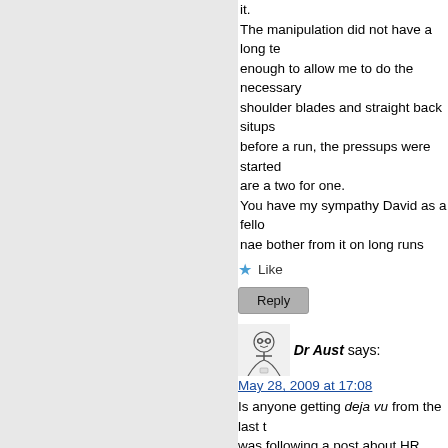it. The manipulation did not have a long te enough to allow me to do the necessary shoulder blades and straight back situps before a run, the pressups were started are a two for one. You have my sympathy David as a fello nae bother from it on long runs
Like
Reply
Dr Aust says:
May 28, 2009 at 17:08
Is anyone getting deja vu from the last t was following a post about HR promotin part of the subsequent thread still seem The NICE guidelines do seems to be a like to paper over shortages of physios "referring" out to the thriving Woo-secto am disappointed that NICE has gone al Anyway, the wording suggests that indiv prefer, which is perhaps the universal g will carry on plugging Woo, while the m interested to see what the GP magazine
Like
Reply